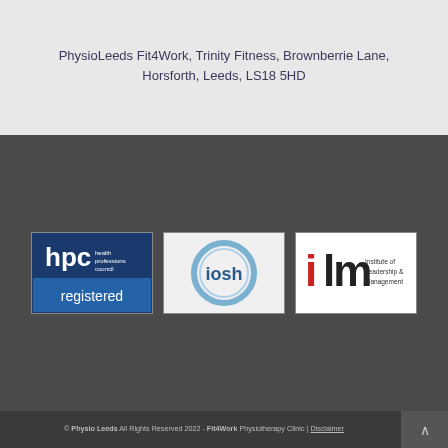Leeds, LS10 9EO
PhysioLeeds Fit4Work, Trinity Fitness, Brownberrie Lane, Horsforth, Leeds, LS18 5HD
[Figure (logo): HPC Health Professions Council - registered logo (dark blue background with white text)]
[Figure (logo): IOSH logo - circular design with blue gradient ring]
[Figure (logo): ILM Institute of Leadership & Management logo - red and dark text on white]
© Physio Leeds All Rights Reserved 2022 - Fit4Work Physiotherapy Clinic | Disclaimer